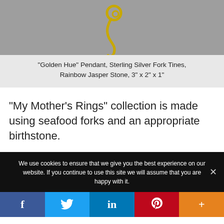[Figure (photo): Gold colored pendant made from sterling silver fork tines on a gray background]
“Golden Hue” Pendant, Sterling Silver Fork Tines, Rainbow Jasper Stone, 3” x 2” x 1”
“My Mother’s Rings” collection is made using seafood forks and an appropriate birthstone.
We use cookies to ensure that we give you the best experience on our website. If you continue to use this site we will assume that you are happy with it.